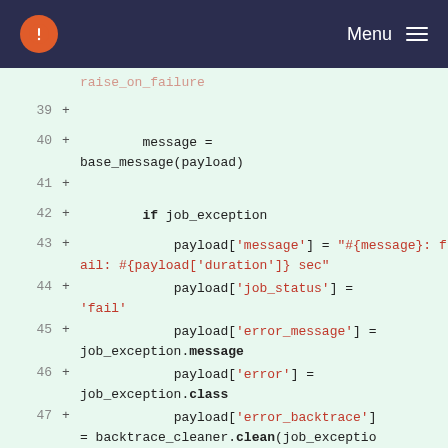Menu
Code diff showing lines 39-49 of a Ruby file with job exception handling logic